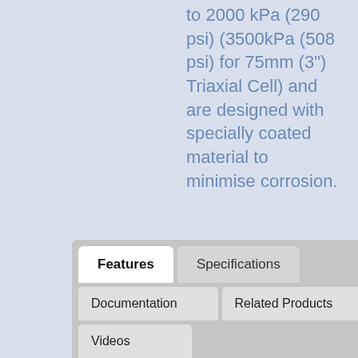to 2000 kPa (290 psi) (3500kPa (508 psi) for 75mm (3") Triaxial Cell) and are designed with specially coated material to minimise corrosion.
[Figure (screenshot): Tab navigation interface with tabs: Features (active/white), Specifications, Documentation, Related Products, Videos]